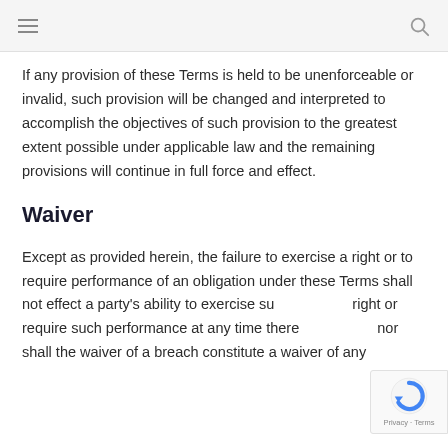If any provision of these Terms is held to be unenforceable or invalid, such provision will be changed and interpreted to accomplish the objectives of such provision to the greatest extent possible under applicable law and the remaining provisions will continue in full force and effect.
Waiver
Except as provided herein, the failure to exercise a right or to require performance of an obligation under these Terms shall not effect a party’s ability to exercise such right or require such performance at any time thereafter nor shall the waiver of a breach constitute a waiver of any